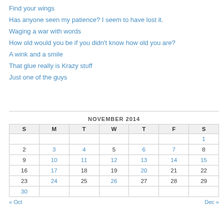Find your wings
Has anyone seen my patience? I seem to have lost it.
Waging a war with words
How old would you be if you didn't know how old you are?
A wink and a smile
That glue really is Krazy stuff
Just one of the guys
| S | M | T | W | T | F | S |
| --- | --- | --- | --- | --- | --- | --- |
|  |  |  |  |  |  | 1 |
| 2 | 3 | 4 | 5 | 6 | 7 | 8 |
| 9 | 10 | 11 | 12 | 13 | 14 | 15 |
| 16 | 17 | 18 | 19 | 20 | 21 | 22 |
| 23 | 24 | 25 | 26 | 27 | 28 | 29 |
| 30 |  |  |  |  |  |  |
« Oct   Dec »